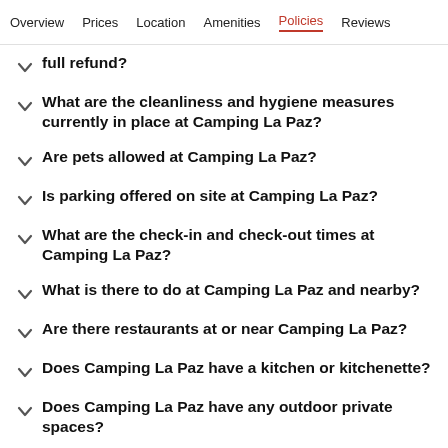Overview  Prices  Location  Amenities  Policies  Reviews
full refund?
What are the cleanliness and hygiene measures currently in place at Camping La Paz?
Are pets allowed at Camping La Paz?
Is parking offered on site at Camping La Paz?
What are the check-in and check-out times at Camping La Paz?
What is there to do at Camping La Paz and nearby?
Are there restaurants at or near Camping La Paz?
Does Camping La Paz have a kitchen or kitchenette?
Does Camping La Paz have any outdoor private spaces?